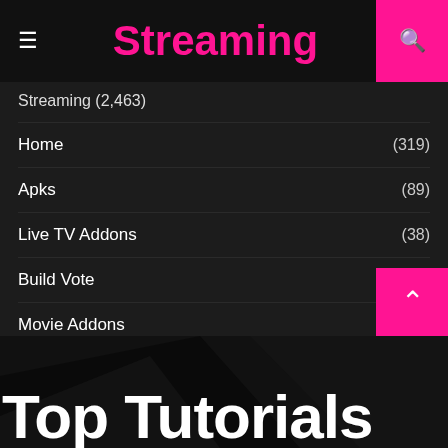Streaming
Streaming (2,463)
Home (319)
Apks (89)
Live TV Addons (38)
Build Vote (28)
Movie Addons (8)
TV Show Addons (8)
Reviews (7)
AI (6)
Tech News (3)
Top Tutorials